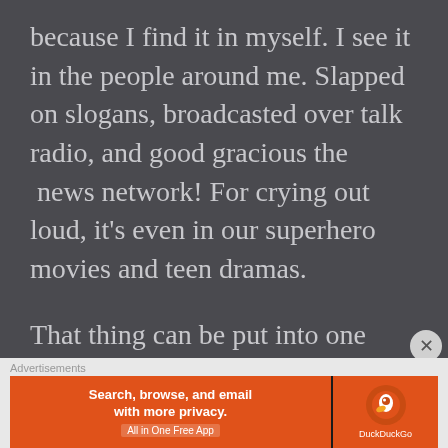because I find it in myself. I see it in the people around me. Slapped on slogans, broadcasted over talk radio, and good gracious the  news network! For crying out loud, it's even in our superhero movies and teen dramas.
That thing can be put into one word:

Rage.
[Figure (other): DuckDuckGo advertisement banner: orange background with text 'Search, browse, and email with more privacy. All in One Free App' and DuckDuckGo logo on dark section.]